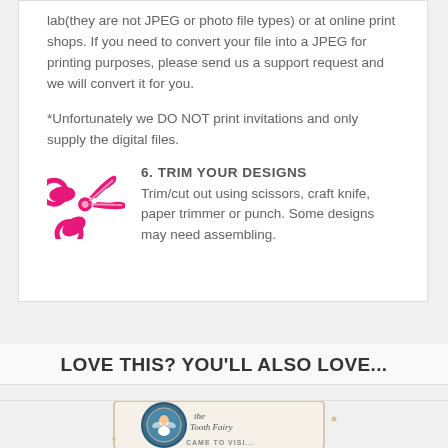lab(they are not JPEG or photo file types) or at online print shops. If you need to convert your file into a JPEG for printing purposes, please send us a support request and we will convert it for you.
*Unfortunately we DO NOT print invitations and only supply the digital files.
[Figure (illustration): Pink scissors icon]
6. TRIM YOUR DESIGNS
Trim/cut out using scissors, craft knife, paper trimmer or punch. Some designs may need assembling.
LOVE THIS? YOU'LL ALSO LOVE...
[Figure (photo): Tooth Fairy came to visit card product image partially visible at bottom]